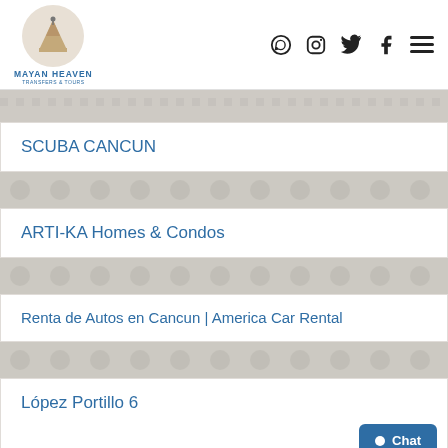Mayan Heaven Transfers & Tours
SCUBA CANCUN
ARTI-KA Homes & Condos
Renta de Autos en Cancun | America Car Rental
López Portillo 6